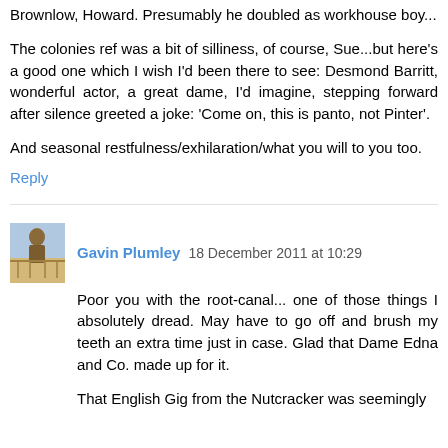Brownlow, Howard. Presumably he doubled as workhouse boy...
The colonies ref was a bit of silliness, of course, Sue...but here's a good one which I wish I'd been there to see: Desmond Barritt, wonderful actor, a great dame, I'd imagine, stepping forward after silence greeted a joke: 'Come on, this is panto, not Pinter'.
And seasonal restfulness/exhilaration/what you will to you too.
Reply
Gavin Plumley  18 December 2011 at 10:29
Poor you with the root-canal... one of those things I absolutely dread. May have to go off and brush my teeth an extra time just in case. Glad that Dame Edna and Co. made up for it.
That English Gig from the Nutcracker was seemingly